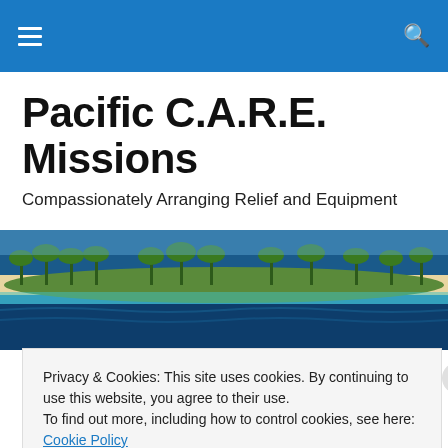Pacific C.A.R.E. Missions – navigation bar
Pacific C.A.R.E. Missions
Compassionately Arranging Relief and Equipment
[Figure (photo): Aerial panoramic photo of a tropical Pacific island atoll with palm trees, white sand beaches, and bright blue ocean water]
HOME
Privacy & Cookies: This site uses cookies. By continuing to use this website, you agree to their use.
To find out more, including how to control cookies, see here: Cookie Policy